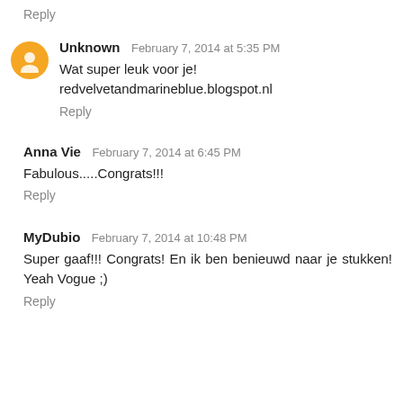Reply
Unknown  February 7, 2014 at 5:35 PM
Wat super leuk voor je!
redvelvetandmarineblue.blogspot.nl
Reply
Anna Vie  February 7, 2014 at 6:45 PM
Fabulous.....Congrats!!!
Reply
MyDubio  February 7, 2014 at 10:48 PM
Super gaaf!!! Congrats! En ik ben benieuwd naar je stukken! Yeah Vogue ;)
Reply